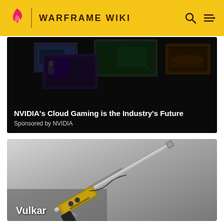WARFRAME WIKI
[Figure (screenshot): NVIDIA Cloud Gaming advertisement banner showing multiple gaming screens on dark background]
NVIDIA's Cloud Gaming is the Industry's Future
Sponsored by NVIDIA
[Figure (photo): Warframe Vulkar sniper rifle weapon on grey gradient background]
Vulkar